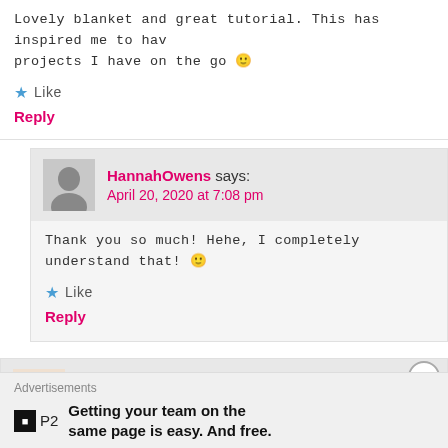Lovely blanket and great tutorial. This has inspired me to hav... projects I have on the go 🙂
★ Like
Reply
HannahOwens says:
April 20, 2020 at 7:08 pm
Thank you so much! Hehe, I completely understand that! 🙂
★ Like
Reply
bellasitaliangrille123 says:
Advertisements
Getting your team on the same page is easy. And free.